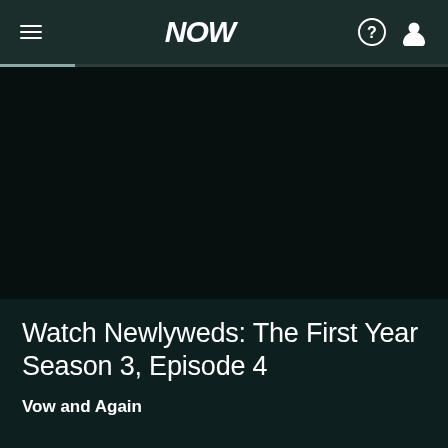NOW
[Figure (screenshot): Dark video player area, nearly black]
Watch Newlyweds: The First Year Season 3, Episode 4
Vow and Again